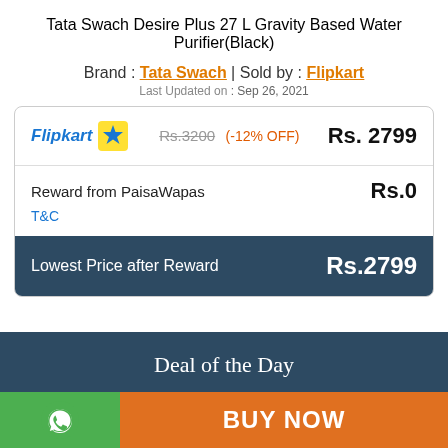Tata Swach Desire Plus 27 L Gravity Based Water Purifier(Black)
Brand : Tata Swach | Sold by : Flipkart
Last Updated on : Sep 26, 2021
| Flipkart [logo] | Rs.3200 (-12% OFF) | Rs. 2799 |
| Reward from PaisaWapas |  | Rs.0 |
| T&C |  |  |
| Lowest Price after Reward |  | Rs.2799 |
Deal of the Day
BUY NOW